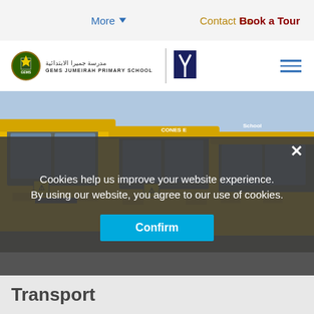More  Contact Us  Book a Tour
[Figure (logo): GEMS Jumeirah Primary School logo with Arabic text, crest, and Y-shaped secondary logo; hamburger menu icon]
[Figure (photo): A row of yellow school buses parked side by side, front view]
Cookies help us improve your website experience. By using our website, you agree to our use of cookies.
Confirm
Transport